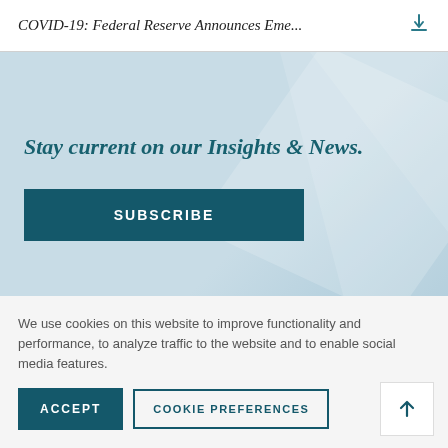COVID-19: Federal Reserve Announces Eme...
Stay current on our Insights & News.
SUBSCRIBE
Contributors
We use cookies on this website to improve functionality and performance, to analyze traffic to the website and to enable social media features.
ACCEPT
COOKIE PREFERENCES